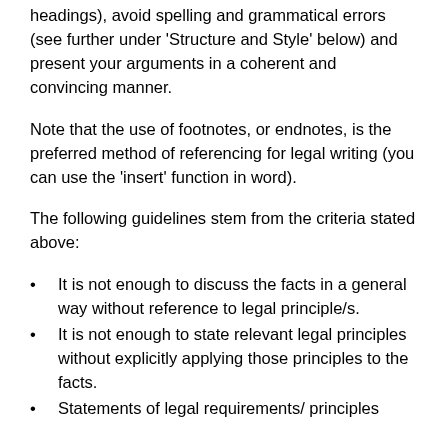headings), avoid spelling and grammatical errors (see further under 'Structure and Style' below) and present your arguments in a coherent and convincing manner.
Note that the use of footnotes, or endnotes, is the preferred method of referencing for legal writing (you can use the 'insert' function in word).
The following guidelines stem from the criteria stated above:
It is not enough to discuss the facts in a general way without reference to legal principle/s.
It is not enough to state relevant legal principles without explicitly applying those principles to the facts.
Statements of legal requirements/ principles